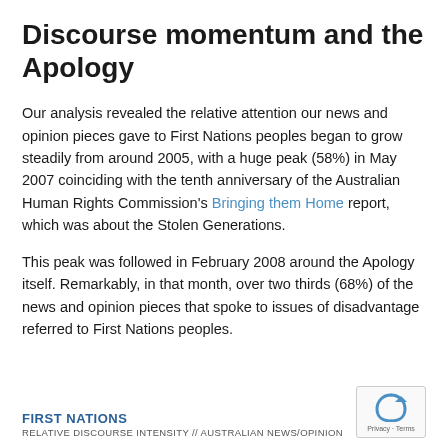Discourse momentum and the Apology
Our analysis revealed the relative attention our news and opinion pieces gave to First Nations peoples began to grow steadily from around 2005, with a huge peak (58%) in May 2007 coinciding with the tenth anniversary of the Australian Human Rights Commission's Bringing them Home report, which was about the Stolen Generations.
This peak was followed in February 2008 around the Apology itself. Remarkably, in that month, over two thirds (68%) of the news and opinion pieces that spoke to issues of disadvantage referred to First Nations peoples.
FIRST NATIONS
RELATIVE DISCOURSE INTENSITY // AUSTRALIAN NEWS/OPINION